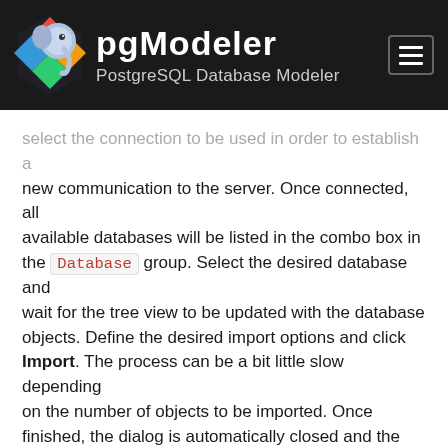pgModeler — PostgreSQL Database Modeler
select the connection to be used in order to establish a new communication to the server. Once connected, all available databases will be listed in the combo box in the Database group. Select the desired database and wait for the tree view to be updated with the database objects. Define the desired import options and click Import. The process can be a bit little slow depending on the number of objects to be imported. Once finished, the dialog is automatically closed and the generated database model is loaded.
5.2.1. Reverse engineering filters
The objects filtering in the reverse engineering dialog allows the user to provide filtering patterns that force pgModeler to list only those items matching the